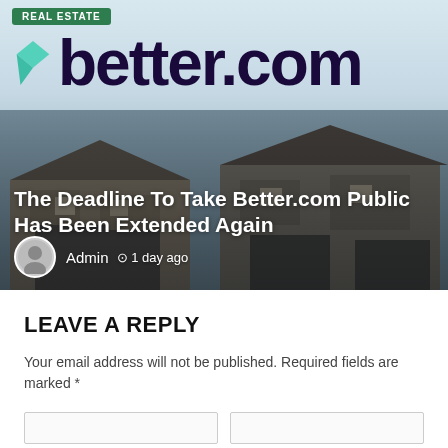[Figure (screenshot): Article thumbnail image showing better.com logo over a photo of suburban houses with a REAL ESTATE category tag badge in green]
The Deadline To Take Better.com Public Has Been Extended Again
Admin  1 day ago
LEAVE A REPLY
Your email address will not be published. Required fields are marked *